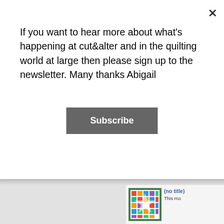If you want to hear more about what's happening at cut&alter and in the quilting world at large then please sign up to the newsletter. Many thanks Abigail
Subscribe
[Figure (screenshot): Website screenshot showing a newsletter signup modal overlay on a quilting blog, with a Subscribe button and close (×) button, plus a right sidebar showing recent posts with thumbnails]
(no title)
This mo
Eyes, d
Well wh
2017 Ne
If you re